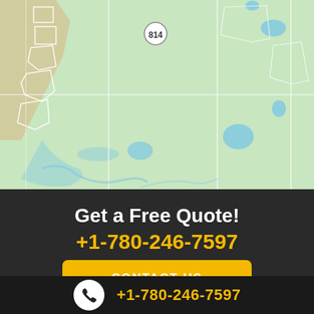[Figure (map): Green map showing a rural/wilderness area with blue water bodies, white boundary lines for land parcels, a road with route marker 814, and grid lines overlaid.]
Get a Free Quote!
+1-780-246-7597
CONTACT US
+1-780-246-7597